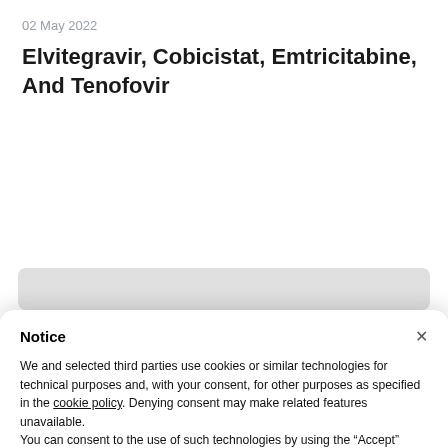02 May 2022
Elvitegravir, Cobicistat, Emtricitabine, And Tenofovir
Notice
We and selected third parties use cookies or similar technologies for technical purposes and, with your consent, for other purposes as specified in the cookie policy. Denying consent may make related features unavailable.
You can consent to the use of such technologies by using the “Accept” button, by closing this notice, by interacting with any link or button outside of this notice or by continuing to browse otherwise.
Accept
Learn more